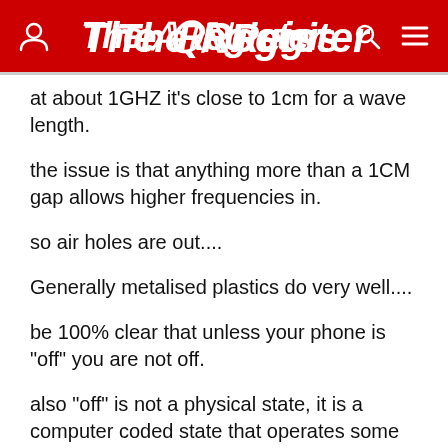The Register
at about 1GHZ it's close to 1cm for a wave length.
the issue is that anything more than a 1CM gap allows higher frequencies in.
so air holes are out....
Generally metalised plastics do very well....
be 100% clear that unless your phone is "off" you are not off.
also "off" is not a physical state, it is a computer coded state that operates some mode inside the phone.
and as such can easily be bypasses to be "on".
the only real way is to remove the phone battery...... but strangely that's not an option any more